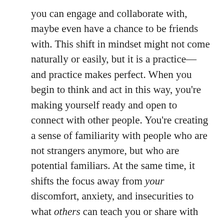you can engage and collaborate with, maybe even have a chance to be friends with. This shift in mindset might not come naturally or easily, but it is a practice—and practice makes perfect. When you begin to think and act in this way, you're making yourself ready and open to connect with other people. You're creating a sense of familiarity with people who are not strangers anymore, but who are potential familiars. At the same time, it shifts the focus away from your discomfort, anxiety, and insecurities to what others can teach you or share with you.
Try practising this at the next conference or seminar gathering that you go to. For instance, if you're finding it hard to participate in a discussion amongst a group of academics at the reception area, don't focus on what 'intelligent' thing you need to say to gain their attention—which can be anxiety-inducing